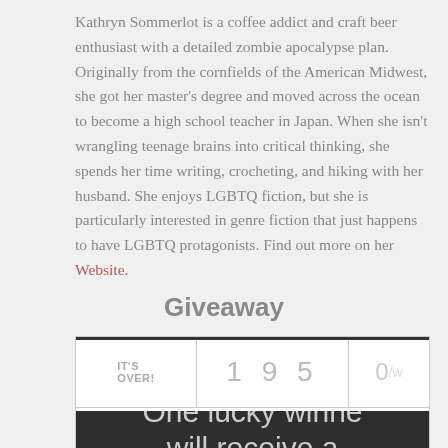Kathryn Sommerlot is a coffee addict and craft beer enthusiast with a detailed zombie apocalypse plan. Originally from the cornfields of the American Midwest, she got her master's degree and moved across the ocean to become a high school teacher in Japan. When she isn't wrangling teenage brains into critical thinking, she spends her time writing, crocheting, and hiking with her husband. She enjoys LGBTQ fiction, but she is particularly interested in genre fiction that just happens to have LGBTQ protagonists. Find out more on her Website.
Giveaway
[Figure (other): Giveaway widget showing IT'S OVER! with 195 entries and 0 winners. Bottom dark section shows 'One lucky winne' and 'will receive a' (truncated).]